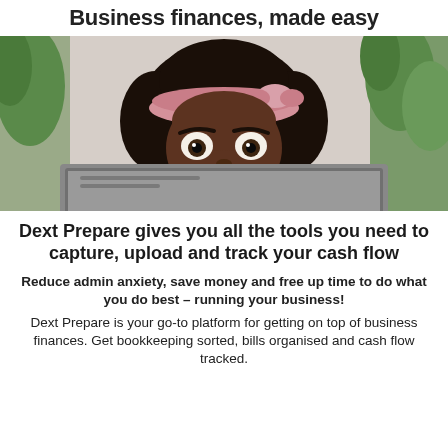Business finances, made easy
[Figure (photo): A Black woman with natural hair and a pink headband peering over the top of a laptop screen with wide, expressive eyes, suggesting surprise or anxiety about business finances.]
Dext Prepare gives you all the tools you need to capture, upload and track your cash flow
Reduce admin anxiety, save money and free up time to do what you do best – running your business!
Dext Prepare is your go-to platform for getting on top of business finances. Get bookkeeping sorted, bills organised and cash flow tracked.